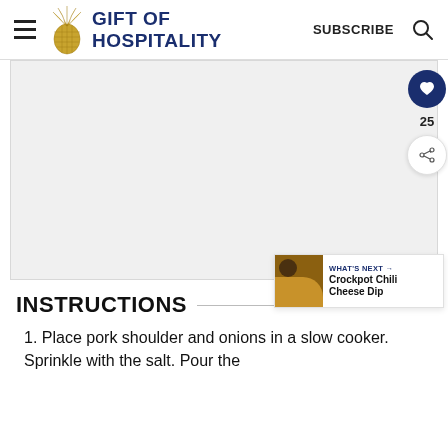GIFT OF HOSPITALITY | SUBSCRIBE
[Figure (photo): Large blank/light grey image area placeholder for a recipe photo]
INSTRUCTIONS
WHAT'S NEXT → Crockpot Chili Cheese Dip
1. Place pork shoulder and onions in a slow cooker. Sprinkle with the salt. Pour the